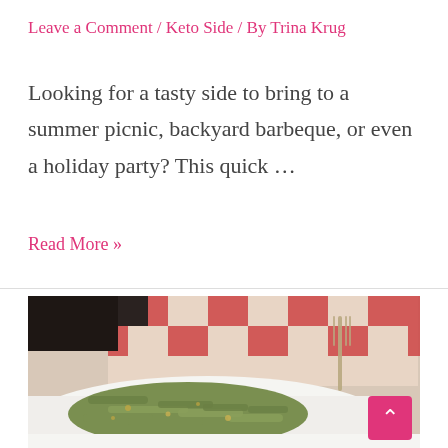Leave a Comment / Keto Side / By Trina Krug
Looking for a tasty side to bring to a summer picnic, backyard barbeque, or even a holiday party? This quick …
Read More »
[Figure (photo): A plate of cooked green beans on a white plate, with a red and white checkered napkin and a fork in the background.]